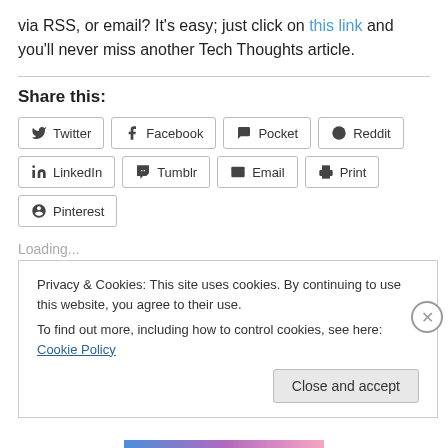via RSS, or email? It's easy; just click on this link and you'll never miss another Tech Thoughts article.
Share this:
Twitter | Facebook | Pocket | Reddit | LinkedIn | Tumblr | Email | Print | Pinterest
Loading...
Privacy & Cookies: This site uses cookies. By continuing to use this website, you agree to their use. To find out more, including how to control cookies, see here: Cookie Policy
Close and accept